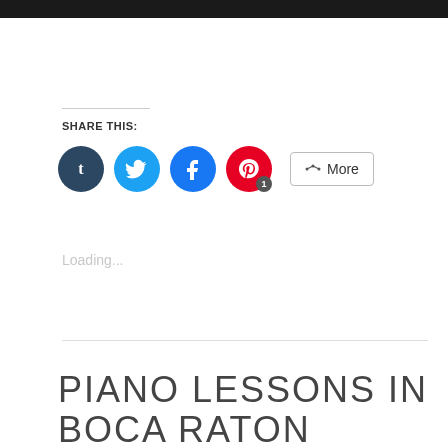[Figure (photo): Dark photo strip at top of page]
SHARE THIS:
[Figure (infographic): Social share buttons: Tumblr (dark blue circle), Twitter (light blue circle), Facebook (blue circle), Pinterest (red circle with badge '1'), and a More button]
Loading...
PIANO LESSONS IN BOCA RATON